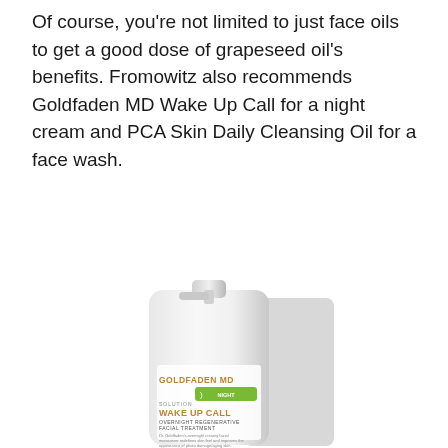Of course, you're not limited to just face oils to get a good dose of grapeseed oil's benefits. Fromowitz also recommends Goldfaden MD Wake Up Call for a night cream and PCA Skin Daily Cleansing Oil for a face wash.
[Figure (photo): A white pump bottle of Goldfaden MD Wake Up Call Overnight Regenerative Facial Treatment product, with gold and green label text on the front, shown against a white background.]